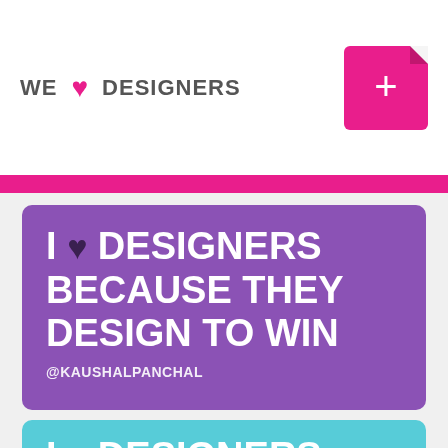WE ♥ DESIGNERS
[Figure (infographic): Purple card with bold white text: I ♥ DESIGNERS BECAUSE THEY DESIGN TO WIN, attributed to @KAUSHALPANCHAL]
[Figure (infographic): Cyan/teal card with bold white text: I ♥ DESIGNERS (partially visible)]